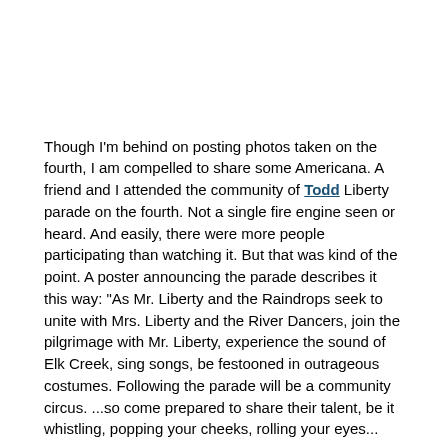Though I'm behind on posting photos taken on the fourth, I am compelled to share some Americana. A friend and I attended the community of Todd Liberty parade on the fourth. Not a single fire engine seen or heard. And easily, there were more people participating than watching it. But that was kind of the point. A poster announcing the parade describes it this way: "As Mr. Liberty and the Raindrops seek to unite with Mrs. Liberty and the River Dancers, join the pilgrimage with Mr. Liberty, experience the sound of Elk Creek, sing songs, be festooned in outrageous costumes. Following the parade will be a community circus. ...so come prepared to share their talent, be it whistling, popping your cheeks, rolling your eyes...